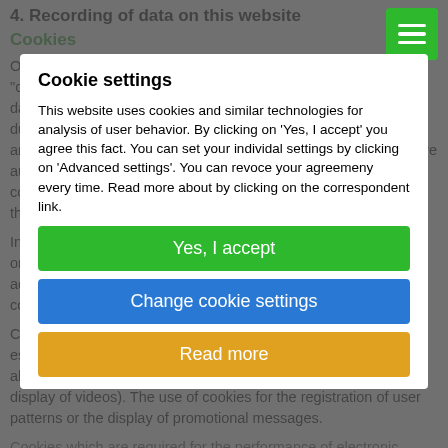4. Recording of data on this website
Cookies
Our websites and pages use what the industry refers to as "cookies." Cookies are small text files that do not cause any damage to your device. They are either stored temporarily for the duration of a session (session cookies) or they are permanently archived on your device (permanent cookies). Session cookies are automatically deleted once you terminate your visit. Permanent cookies remain stored on your device until you actively delete them or they are automatically eradicated by your web browser.
Cookie settings
This website uses cookies and similar technologies for analysis of user behavior. By clicking on 'Yes, I accept' you agree this fact. You can set your individal settings by clicking on 'Advanced settings'. You can revoce your agreemeny every time. Read more about by clicking on the correspondent link.
Yes, I accept
essential since certain website functions would not work in the absence of the cookies (e.g. the shopping cart function or the
Change cookie settings
of user patterns or the display of promotional messages.
Read more
certain functions you want to use (functional cookies, e.g. for the shopping cart function) or those that are necessary for the